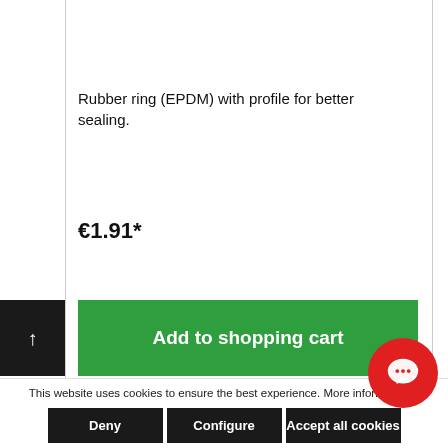Rubber ring (EPDM) with profile for better sealing.
€1.91*
Add to shopping cart
This website uses cookies to ensure the best experience. More information...
Deny
Configure
Accept all cookies